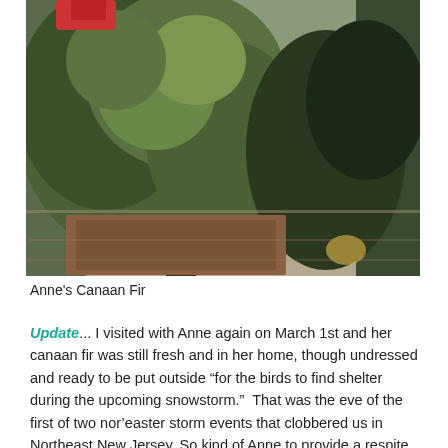[Figure (photo): Close-up photo of a Canaan Fir Christmas tree with dark green foliage, partially cropped, indoors with a wooden floor visible]
Anne's Canaan Fir
Update... I visited with Anne again on March 1st and her canaan fir was still fresh and in her home, though undressed and ready to be put outside “for the birds to find shelter during the upcoming snowstorm.”  That was the eve of the first of two nor’easter storm events that clobbered us in Northeast New Jersey. So kind of Anne to provide a respite spot for the birds. Talk about a Christmas tree that keeps providing extended joy....